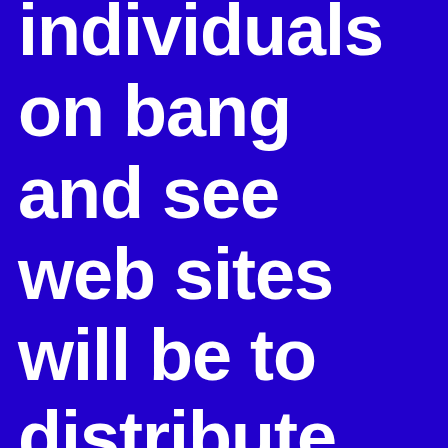individuals on bang and see web sites will be to distribute an unbelievable profile